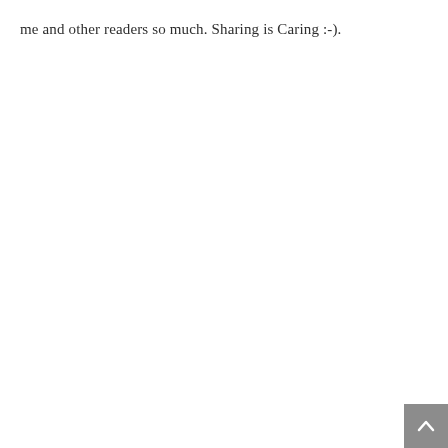me and other readers so much. Sharing is Caring :-).
[Figure (other): Back to top button — a grey square with an upward-pointing chevron/arrow icon in the bottom-right corner of the page.]